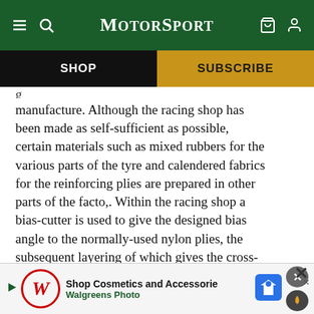MotorSport
SHOP
SUBSCRIBE
manufacture. Although the racing shop has been made as self-sufficient as possible, certain materials such as mixed rubbers for the various parts of the tyre and calendered fabrics for the reinforcing plies are prepared in other parts of the facto,. Within the racing shop a bias-cutter is used to give the designed bias angle to the normally-used nylon plies, the subsequent layering of which gives the cross-ply construction of the racing tyre. Rubber for treads is extruded in the shop, the rubber first bei... to rai... e
[Figure (screenshot): Walgreens Photo advertisement bar at bottom of screen with close (X) button]